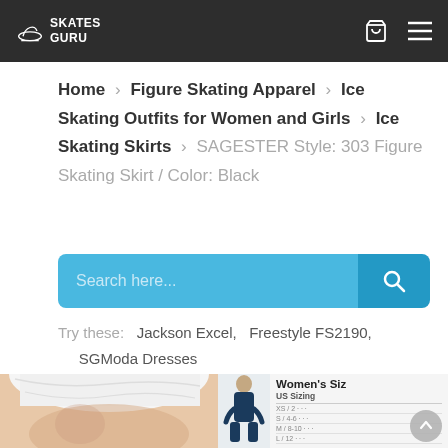SKATES GURU
Home > Figure Skating Apparel > Ice Skating Outfits for Women and Girls > Ice Skating Skirts > SAGESTER Style: 303 Figure Skating Skirt / Color: Black
Search here...
Try these: Jackson Excel, Freestyle FS2190, SGModa Dresses
[Figure (photo): Partial photo of a person wearing a white figure skating skirt, cropped at waist/hip area]
[Figure (photo): Female figure skater model in dark navy long-sleeve skating outfit, with women's sizing chart showing US Sizing and International Sizing sections partially visible]